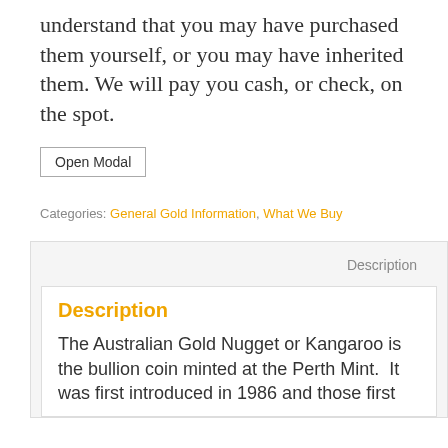understand that you may have purchased them yourself, or you may have inherited them. We will pay you cash, or check, on the spot.
Open Modal
Categories: General Gold Information, What We Buy
Description
Description
The Australian Gold Nugget or Kangaroo is the bullion coin minted at the Perth Mint.  It was first introduced in 1986 and those first